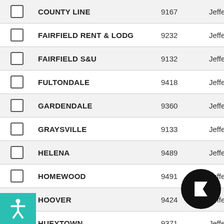|  | Name | Number | County |
| --- | --- | --- | --- |
| ☐ | COUNTY LINE | 9167 | Jeffers |
| ☐ | FAIRFIELD RENT & LODG | 9232 | Jeffers |
| ☐ | FAIRFIELD S&U | 9132 | Jeffers |
| ☐ | FULTONDALE | 9418 | Jeffers |
| ☐ | GARDENDALE | 9360 | Jeffers |
| ☐ | GRAYSVILLE | 9133 | Jeffers |
| ☐ | HELENA | 9489 | Jeffers |
| ☐ | HOMEWOOD | 9491 | Jeffers |
| ☐ | HOOVER | 9424 | Jeffers |
| ☐ | HUEYTOWN | 9371 | Jeffers |
| ☐ | IRONDALE | 9134 | Jeffers |